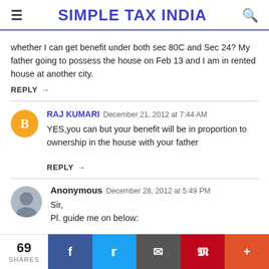SIMPLE TAX INDIA
whether I can get benefit under both sec 80C and Sec 24? My father going to possess the house on Feb 13 and I am in rented house at another city.
REPLY
RAJ KUMARI December 21, 2012 at 7:44 AM
YES,you can but your benefit will be in proportion to ownership in the house with your father
REPLY
Anonymous December 28, 2012 at 5:49 PM
Sir,
Pl. guide me on below: